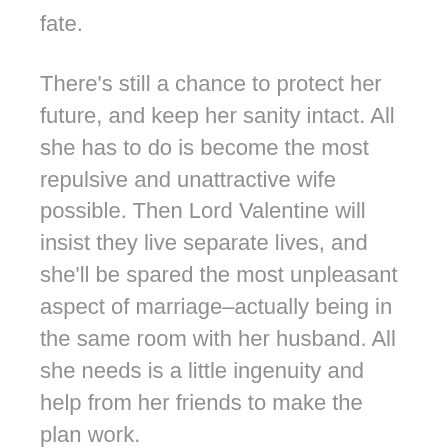fate.
There's still a chance to protect her future, and keep her sanity intact. All she has to do is become the most repulsive and unattractive wife possible. Then Lord Valentine will insist they live separate lives, and she'll be spared the most unpleasant aspect of marriage–actually being in the same room with her husband. All she needs is a little ingenuity and help from her friends to make the plan work.
This romantic comedy takes a fun look at one wife's dream of discouraging her husband from falling in love with her.
Marriage by Design Series:
Book 1: Breaking the Rules